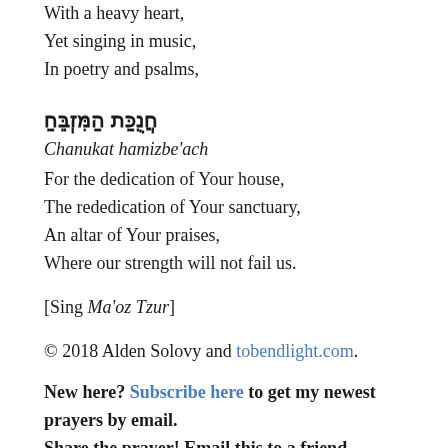With a heavy heart,
Yet singing in music,
In poetry and psalms,
חֲנֻכַּת הַמִּזְבֵּחַ
Chanukat hamizbe'ach
For the dedication of Your house,
The rededication of Your sanctuary,
An altar of Your praises,
Where our strength will not fail us.
[Sing Ma'oz Tzur]
© 2018 Alden Solovy and tobendlight.com.
New here? Subscribe here to get my newest prayers by email.
Share the prayer! Email this to a friend.
Postscript: Ma'oz Tzur was written by an unknown poet whose name is spelled out as Mordechai by the first letters of the first five stanzas and the first letter